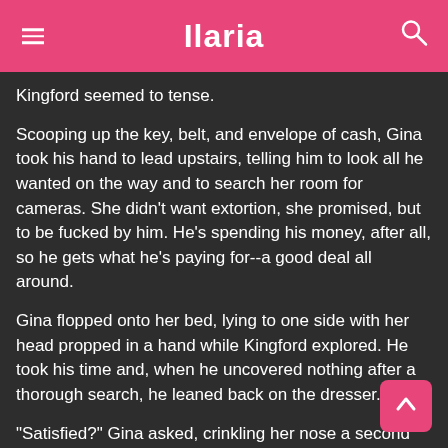Ilaria
Kingford seemed to tense.
Scooping up the key, belt, and envelope of cash, Gina took his hand to lead upstairs, telling him to look all he wanted on the way and to search her room for cameras. She didn't want extortion, she promised, but to be fucked by him. He&#039;s spending his money, after all, so he gets what he&#039;s paying for--a good deal all around.
Gina flopped onto her bed, lying to one side with her head propped in a hand while Kingford explored. He took his time and, when he uncovered nothing after a thorough search, he leaned back on the dresser.
"Satisfied?" Gina asked, crinkling her nose a second for a tease. Smiling, she undid the belt of her short robe to reveal her body.
"Your father made a mistake trying to blackmail me," Kingford menaced. "I've crushed bigger men."
"I lied about the blackmail thing. Daddy only jerks the video a few times a week. I figure he wants you coming back, since he enjoys watching. The money you...